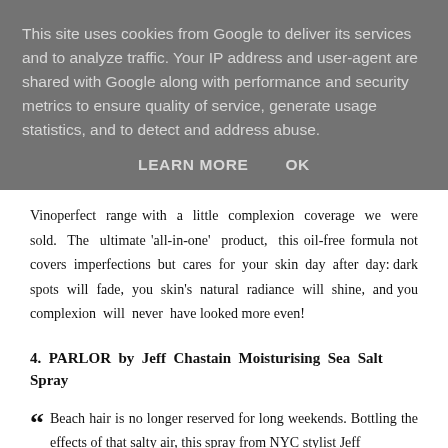This site uses cookies from Google to deliver its services and to analyze traffic. Your IP address and user-agent are shared with Google along with performance and security metrics to ensure quality of service, generate usage statistics, and to detect and address abuse.
LEARN MORE    OK
Vinoperfect range with a little complexion coverage we were sold. The ultimate 'all-in-one' product, this oil-free formula not covers imperfections but cares for your skin day after day: dark spots will fade, you skin's natural radiance will shine, and you complexion will never have looked more even!
4.  PARLOR by Jeff Chastain Moisturising Sea Salt Spray
Beach hair is no longer reserved for long weekends. Bottling the effects of that salty air, this spray from NYC stylist Jeff